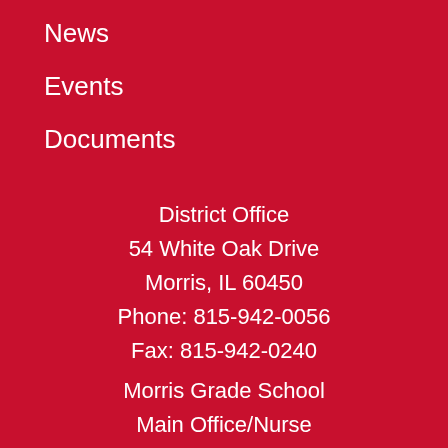News
Events
Documents
District Office
54 White Oak Drive
Morris, IL 60450
Phone: 815-942-0056
Fax: 815-942-0240
Morris Grade School
Main Office/Nurse